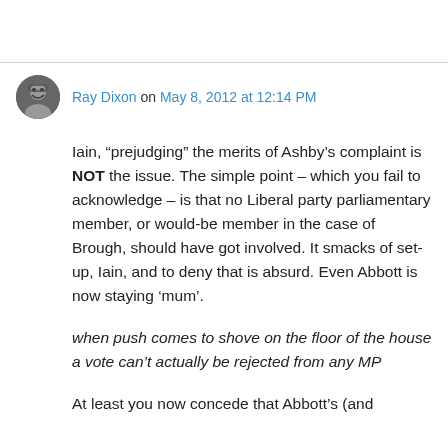Ray Dixon on May 8, 2012 at 12:14 PM
Iain, “prejudging” the merits of Ashby’s complaint is NOT the issue. The simple point – which you fail to acknowledge – is that no Liberal party parliamentary member, or would-be member in the case of Brough, should have got involved. It smacks of set-up, Iain, and to deny that is absurd. Even Abbott is now staying ‘mum’.
when push comes to shove on the floor of the house a vote can’t actually be rejected from any MP
At least you now concede that Abbott’s (and